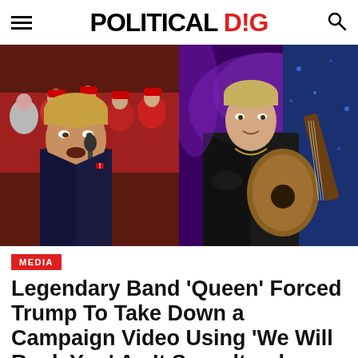POLITICAL DIG
[Figure (photo): Split image: left side shows Donald Trump speaking at a campaign rally with supporters in red caps behind him; right side shows a rock guitarist in a black leather jacket playing guitar on a purple-lit stage.]
MEDIA
Legendary Band ‘Queen’ Forced Trump To Take Down a Campaign Video Using ‘We Will Rock You’ As It Soundtrack